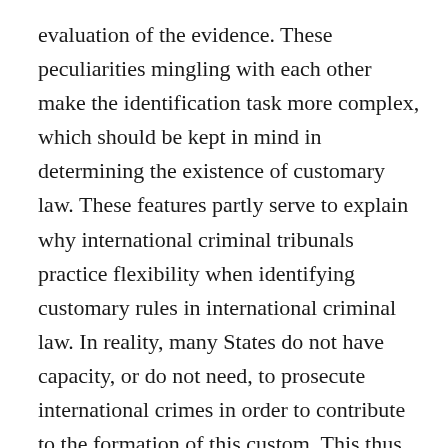evaluation of the evidence. These peculiarities mingling with each other make the identification task more complex, which should be kept in mind in determining the existence of customary law. These features partly serve to explain why international criminal tribunals practice flexibility when identifying customary rules in international criminal law. In reality, many States do not have capacity, or do not need, to prosecute international crimes in order to contribute to the formation of this custom. This thus, results in the paucity of States' physical acts. These tribunals give more attention to verbal statements of States and evidence of opinio juris than the States' physical acts. The evidence of opinio juris is raised to a higher importance in the identification of customary